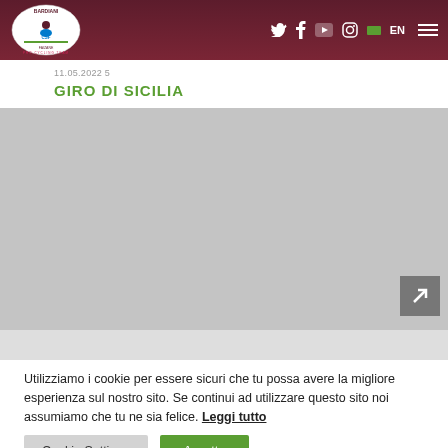[Figure (logo): Bardiani CSF Faizane Pro Cycling Team logo with cyclist icon]
Twitter Facebook YouTube Instagram IT EN (hamburger menu)
11.05.2022 5
GIRO DI SICILIA
[Figure (photo): Gray placeholder image for Giro di Sicilia article with external link arrow button]
Utilizziamo i cookie per essere sicuri che tu possa avere la migliore esperienza sul nostro sito. Se continui ad utilizzare questo sito noi assumiamo che tu ne sia felice. Leggi tutto
Cookie Settings  Accetto